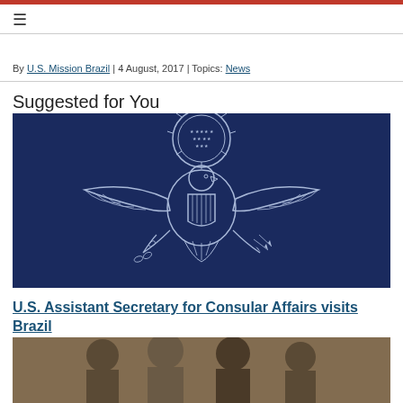By U.S. Mission Brazil | 4 August, 2017 | Topics: News
Suggested for You
[Figure (illustration): U.S. Great Seal eagle emblem in white line art on dark navy blue background]
U.S. Assistant Secretary for Consular Affairs visits Brazil
[Figure (photo): Photo of people at a meeting or event, partially visible at bottom of page]